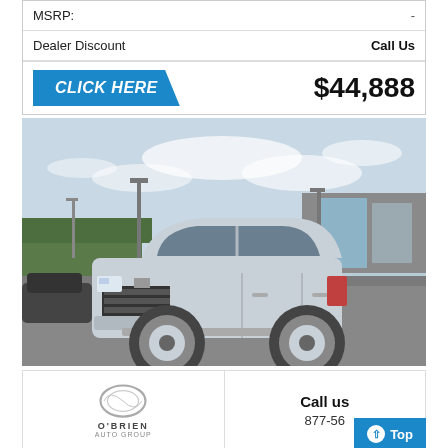|  |  |
| --- | --- |
| MSRP: | - |
| Dealer Discount | Call Us |
| CLICK HERE | $44,888 |
[Figure (photo): Silver Cadillac Escalade SUV parked in a dealership lot with a modern glass building in the background and overcast sky.]
[Figure (logo): O'Brien Auto Group oval logo with the text O'BRIEN and AUTO GROUP below]
Call us 877-56...
Top